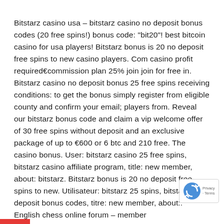Bitstarz casino usa – bitstarz casino no deposit bonus codes (20 free spins!) bonus code: "bit20"! best bitcoin casino for usa players! Bitstarz bonus is 20 no deposit free spins to new casino players. Com casino profit required€commission plan 25% join join for free in. Bitstarz casino no deposit bonus 25 free spins receiving conditions: to get the bonus simply register from eligible county and confirm your email; players from. Reveal our bitstarz bonus code and claim a vip welcome offer of 30 free spins without deposit and an exclusive package of up to €600 or 6 btc and 210 free. The casino bonus. User: bitstarz casino 25 free spins, bitstarz casino affiliate program, title: new member, about: bitstarz. Bitstarz bonus is 20 no deposit free spins to new. Utilisateur: bitstarz 25 spins, bitstarz no deposit bonus codes, titre: new member, about:. English chess online forum – member
[Figure (other): reCAPTCHA badge with blue recycling-arrows logo and 'Privacy - Terms' text]